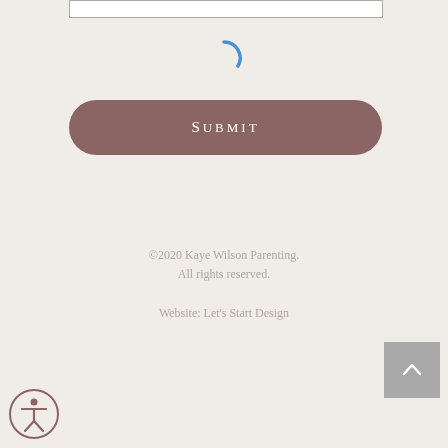[Figure (screenshot): Partial input field at the top of the page]
[Figure (other): Blue loading spinner arc]
Submit
©2020 Kaye Wilson Parenting.
All rights reserved.

Website: Let's Start Design
[Figure (other): Grey square back-to-top button with upward chevron arrow]
[Figure (other): Accessibility icon button — circular with person/wheelchair symbol]